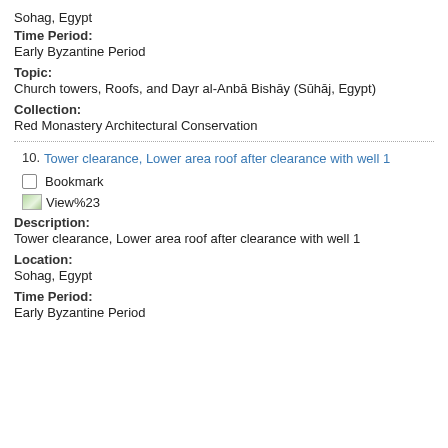Sohag, Egypt
Time Period:
Early Byzantine Period
Topic:
Church towers, Roofs, and Dayr al-Anbā Bishāy (Sūhāj, Egypt)
Collection:
Red Monastery Architectural Conservation
10. Tower clearance, Lower area roof after clearance with well 1
Bookmark
[Figure (other): View%23 image icon thumbnail]
Description:
Tower clearance, Lower area roof after clearance with well 1
Location:
Sohag, Egypt
Time Period:
Early Byzantine Period